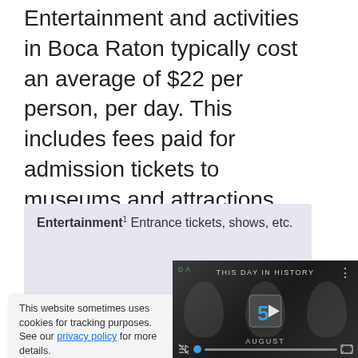Entertainment and activities in Boca Raton typically cost an average of $22 per person, per day. This includes fees paid for admission tickets to museums and attractions, day tours, and other sightseeing expenses.
Entertainment¹  Entrance tickets, shows, etc.
This website sometimes uses cookies for tracking purposes. See our privacy policy for more details.
[Figure (screenshot): Video player showing 'THIS DAY IN HISTORY' with a play button, the number 5, and 'AUGUST' text, overlaid on grayscale faces. Controls include mute icon, progress dot, and expand button.]